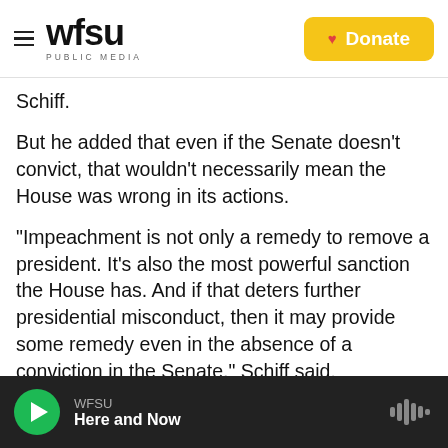WFSU PUBLIC MEDIA | Donate
Schiff.
But he added that even if the Senate doesn't convict, that wouldn't necessarily mean the House was wrong in its actions.
"Impeachment is not only a remedy to remove a president. It's also the most powerful sanction the House has. And if that deters further presidential misconduct, then it may provide some remedy even in the absence of a conviction in the Senate," Schiff said.
"But again," he added, "I have to hope that my
WFSU | Here and Now